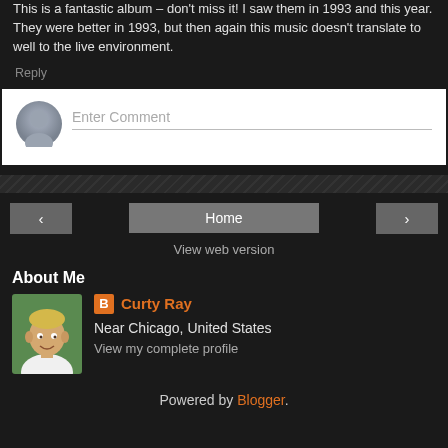This is a fantastic album – don't miss it! I saw them in 1993 and this year. They were better in 1993, but then again this music doesn't translate to well to the live environment.
Reply
Enter Comment
< Home >
View web version
About Me
Curty Ray
Near Chicago, United States
View my complete profile
Powered by Blogger.